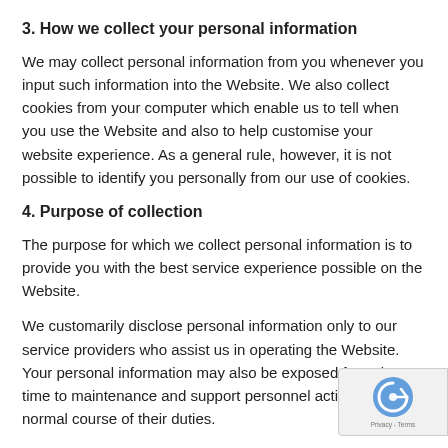3. How we collect your personal information
We may collect personal information from you whenever you input such information into the Website. We also collect cookies from your computer which enable us to tell when you use the Website and also to help customise your website experience. As a general rule, however, it is not possible to identify you personally from our use of cookies.
4. Purpose of collection
The purpose for which we collect personal information is to provide you with the best service experience possible on the Website.
We customarily disclose personal information only to our service providers who assist us in operating the Website. Your personal information may also be exposed from time to time to maintenance and support personnel acting in the normal course of their duties.
By using our Website, you consent to the receipt of direct marketing material. We will only use your personal information for this purpose if we have collected such information directly from you, and if it is material of a type which you would